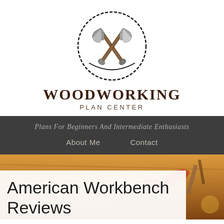[Figure (logo): Woodworking Plan Center logo — two crossed axes/hatchets inside a circular emblem, sketched in black and white]
WOODWORKING
PLAN CENTER
Plans For Beginners And Intermediate Enthusiasts
About Me    Contact
[Figure (photo): Background photo of woodworking tools on a wooden workbench, warm amber tones]
American Workbench Reviews